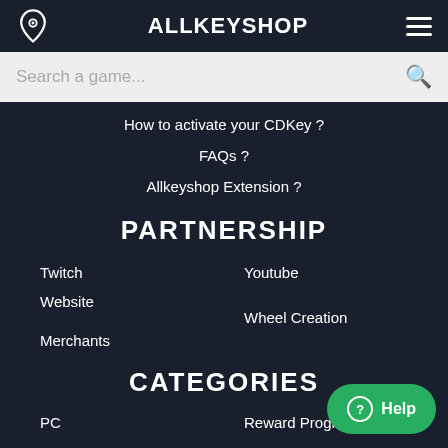ALLKEYSHOP
Search a game...
How to activate your CDKey ?
FAQs ?
Allkeyshop Extension ?
PARTNERSHIP
Twitch
Youtube
Website
Wheel Creation
Merchants
CATEGORIES
PC
Reward Program
Help